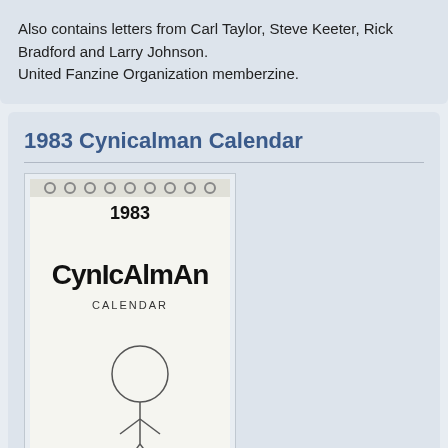Also contains letters from Carl Taylor, Steve Keeter, Rick Bradford and Larry Johnson.
United Fanzine Organization memberzine.
1983 Cynicalman Calendar
[Figure (photo): Cover of the 1983 Cynicalman Calendar, showing a hand-drawn comic cover with large stylized text 'CYNICALMAN' and '1983 CALENDAR' with a simple stick figure illustration.]
Category: Related Items
Publisher  Matt Feazell
Country  USA
Year  1982
Writers / Artists  Matt Feazell